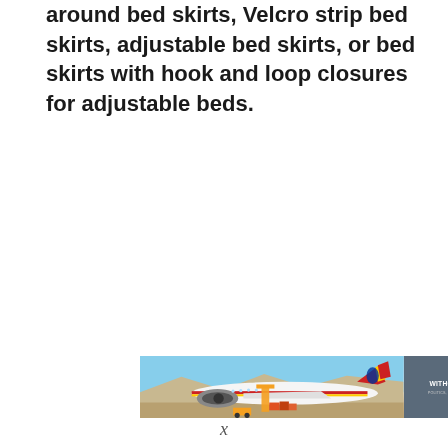around bed skirts, Velcro strip bed skirts, adjustable bed skirts, or bed skirts with hook and loop closures for adjustable beds.
[Figure (photo): Advertisement banner showing a Southwest Airlines cargo plane being loaded at an airport, with a dark panel on the right reading 'WITHOUT REGARD TO' and smaller text below.]
x